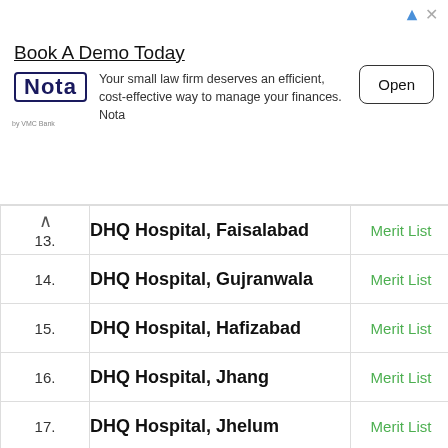[Figure (screenshot): Advertisement banner for Nota law firm finance management software. Title: 'Book A Demo Today'. Body: 'Your small law firm deserves an efficient, cost-effective way to manage your finances. Nota'. Button: 'Open'.]
| # | Hospital | Link |
| --- | --- | --- |
| 13. | DHQ Hospital, Faisalabad | Merit List |
| 14. | DHQ Hospital, Gujranwala | Merit List |
| 15. | DHQ Hospital, Hafizabad | Merit List |
| 16. | DHQ Hospital, Jhang | Merit List |
| 17. | DHQ Hospital, Jhelum | Merit List |
|  | DHQ Hospital, K... |  |